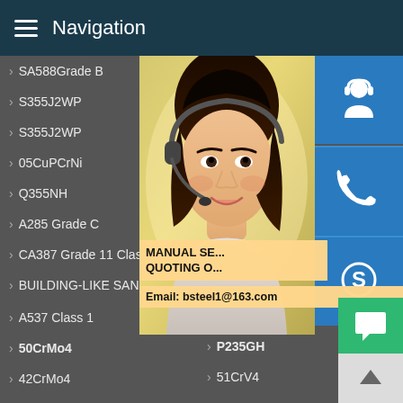Navigation
SA588Grade B
S355J2WP
S355J2WP
05CuPCrNi
Q355NH
A285 Grade C
CA387 Grade 11 Class2
BUILDING-LIKE SAND-MAKER
A537 Class 1
50CrMo4
42CrMo4
20Cr
S355J (partial)
S355J (partial bold)
09CuP (partial)
Q355G (partial)
A204 (partial bold)
A387 (partial)
A387 (partial bold)
A387 (partial bold)
A516 (partial)
P235GH
51CrV4
12Cr1MoV
40Cr
[Figure (photo): Customer service representative woman with headset, with overlay blue icon buttons for support/phone/Skype, a promotional banner reading MANUAL SE... QUOTING O... Email: bsteel1@163.com, and a green chat button]
MANUAL SE... QUOTING O... Email: bsteel1@163.com